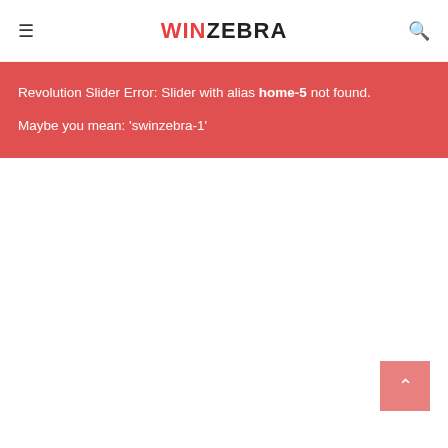WINZEBRA
Revolution Slider Error: Slider with alias home-5 not found.
Maybe you mean: 'swinzebra-1'